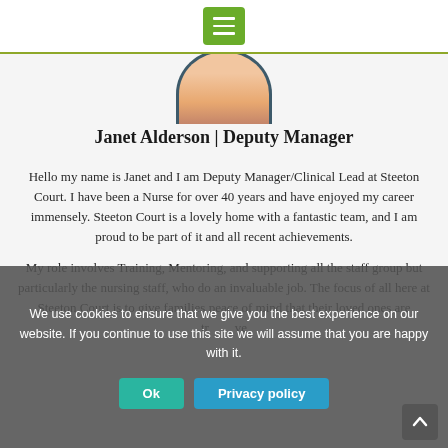[Figure (screenshot): Green hamburger menu button in top navigation bar]
[Figure (photo): Circular profile photo of Janet Alderson showing top portion of face/head]
Janet Alderson | Deputy Manager
Hello my name is Janet and I am Deputy Manager/Clinical Lead at Steeton Court. I have been a Nurse for over 40 years and have enjoyed my career immensely. Steeton Court is a lovely home with a fantastic team, and I am proud to be part of it and all recent achievements.
My role involves Training, Mentoring, and supporting all the staff group but particularly the nursing staff, who do an invaluable job. The focus of all here at Steeton Court is to give families peace of mind that their loved ones are tr... ve...
We use cookies to ensure that we give you the best experience on our website. If you continue to use this site we will assume that you are happy with it.